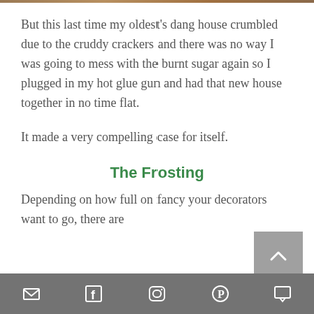[Figure (photo): Top decorative image strip (partially visible, brownish tones)]
But this last time my oldest's dang house crumbled due to the cruddy crackers and there was no way I was going to mess with the burnt sugar again so I plugged in my hot glue gun and had that new house together in no time flat.
It made a very compelling case for itself.
The Frosting
Depending on how full on fancy your decorators want to go, there are
[Figure (other): Gray scroll-to-top button with upward chevron arrow]
Social share icons: email, facebook, instagram, pinterest, comment